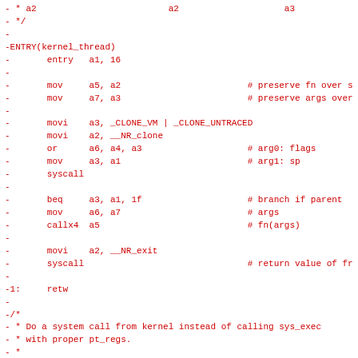- * a2                         a2                    a3
- */
-
-ENTRY(kernel_thread)
-       entry   a1, 16
-
-       mov     a5, a2                        # preserve fn over s
-       mov     a7, a3                        # preserve args over
-
-       movi    a3, _CLONE_VM | _CLONE_UNTRACED
-       movi    a2, __NR_clone
-       or      a6, a4, a3                    # arg0: flags
-       mov     a3, a1                        # arg1: sp
-       syscall
-
-       beq     a3, a1, 1f                    # branch if parent
-       mov     a6, a7                        # args
-       callx4  a5                            # fn(args)
-
-       movi    a2, __NR_exit
-       syscall                               # return value of fr
-
-1:     retw
-
-/*
- * Do a system call from kernel instead of calling sys_exec
- * with proper pt_regs.
- *
- * int kernel_execve(const char *fname, char *const argv[],
- * a2                         a2               a3
- */
-